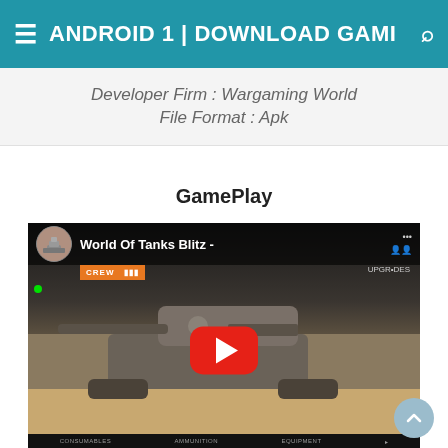ANDROID 1 | DOWNLOAD GAMI
Developer Firm : Wargaming World
File Format : Apk
GamePlay
[Figure (screenshot): YouTube video thumbnail for World Of Tanks Blitz showing a large tank in a hangar with a red play button overlay]